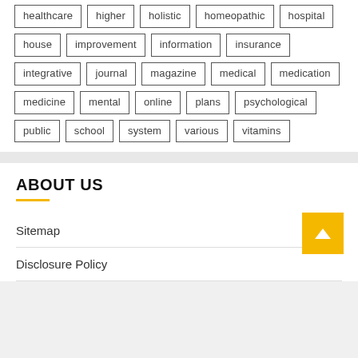healthcare
higher
holistic
homeopathic
hospital
house
improvement
information
insurance
integrative
journal
magazine
medical
medication
medicine
mental
online
plans
psychological
public
school
system
various
vitamins
ABOUT US
Sitemap
Disclosure Policy